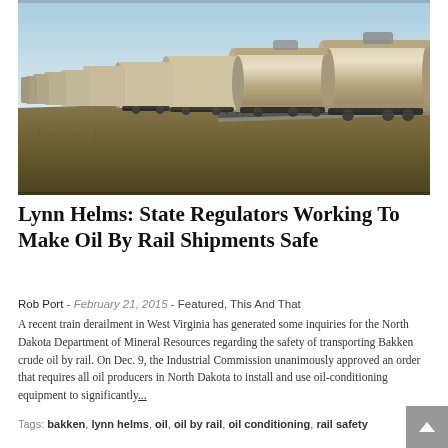[Figure (photo): A long freight train carrying cylindrical oil tank cars stretches across a flat prairie landscape under a blue sky, viewed from a low angle along the tracks.]
Lynn Helms: State Regulators Working To Make Oil By Rail Shipments Safe
Rob Port - February 21, 2015 - Featured, This And That
A recent train derailment in West Virginia has generated some inquiries for the North Dakota Department of Mineral Resources regarding the safety of transporting Bakken crude oil by rail. On Dec. 9, the Industrial Commission unanimously approved an order that requires all oil producers in North Dakota to install and use oil-conditioning equipment to significantly...
Tags: bakken, lynn helms, oil, oil by rail, oil conditioning, rail safety